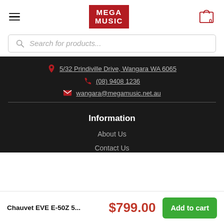MEGA MUSIC
Search for products...
5/32 Prindiville Drive, Wangara WA 6065
(08) 9408 1236
wangara@megamusic.net.au
Information
About Us
Contact Us
Chauvet EVE E-50Z 5... $799.00 Add to cart